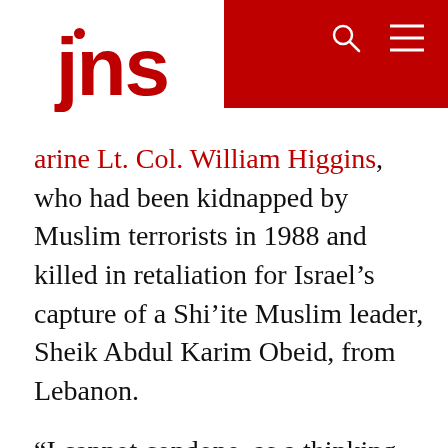jns
arine Lt. Col. William Higgins, who had been kidnapped by Muslim terrorists in 1988 and killed in retaliation for Israel's capture of a Shi'ite Muslim leader, Sheik Abdul Karim Obeid, from Lebanon.
“I cannot condone, as a thinking person, how any government—ours, the Israeli government or any other civilized government,” he said on the Senate floor, “could embark on this unilateral, free-lancing course, without regard to the effect on innocents of other friendly countries, without regard to our common front